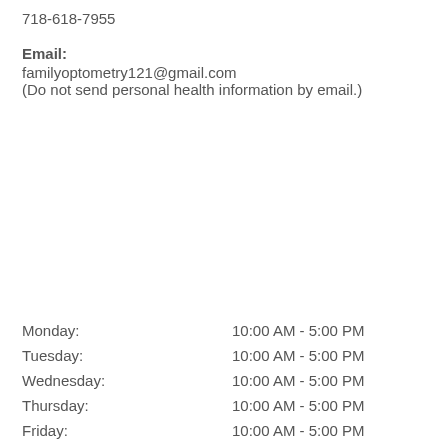718-618-7955
Email:
familyoptometry121@gmail.com
(Do not send personal health information by email.)
Monday:    10:00 AM - 5:00 PM
Tuesday:   10:00 AM - 5:00 PM
Wednesday: 10:00 AM - 5:00 PM
Thursday:  10:00 AM - 5:00 PM
Friday:    10:00 AM - 5:00 PM